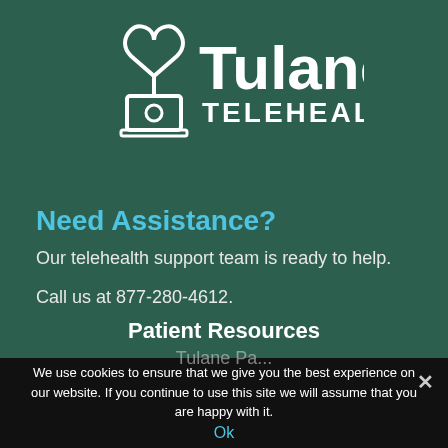[Figure (logo): Tulane Telehealth logo with stethoscope heart icon above a laptop, followed by Tulane TELEHEALTH text]
Need Assistance?
Our telehealth support team is ready to help.
Call us at 877-280-4612.
Patient Resources
Tulane...
We use cookies to ensure that we give you the best experience on our website. If you continue to use this site we will assume that you are happy with it.
Ok